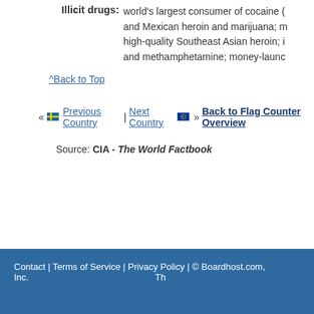Illicit drugs: world's largest consumer of cocaine and Mexican heroin and marijuana; high-quality Southeast Asian heroin; and methamphetamine; money-laund...
^Back to Top
« Previous Country | Next Country » Back to Flag Counter Overview
Source: CIA - The World Factbook
Contact | Terms of Service | Privacy Policy | © Boardhost.com, Inc.  Th...